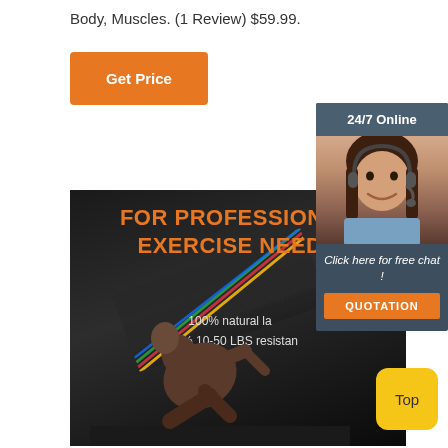Body, Muscles. (1 Review) $59.99.
[Figure (other): Orange 'Get Price' button]
[Figure (photo): Product image showing a muscular man doing resistance band exercises. Text overlay reads: FOR PROFESSIONAL EXERCISE NEEDS, 100% natural la[tex], 100% 10-50 LBS resistan[ce]]
[Figure (other): 24/7 Online chat widget with a customer service representative photo, text 'Click here for free chat!', and an orange QUOTATION button]
[Figure (other): Yellow 'Top' button in bottom right corner]